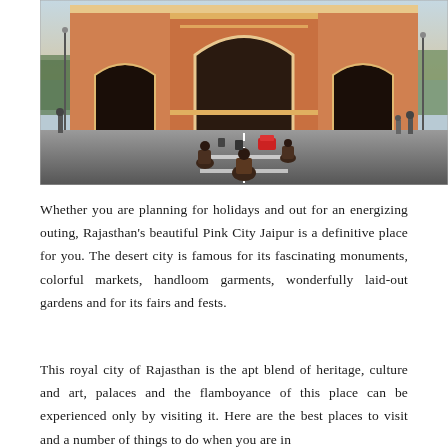[Figure (photo): Street view of Jaipur's Pink City gate (Chandpole or similar arched gate), with motorcyclists on the road approaching the ornate pink sandstone arched gateway, traffic and pedestrians visible, blue sky above.]
Whether you are planning for holidays and out for an energizing outing, Rajasthan's beautiful Pink City Jaipur is a definitive place for you. The desert city is famous for its fascinating monuments, colorful markets, handloom garments, wonderfully laid-out gardens and for its fairs and fests.
This royal city of Rajasthan is the apt blend of heritage, culture and art, palaces and the flamboyance of this place can be experienced only by visiting it. Here are the best places to visit and a number of things to do when you are in